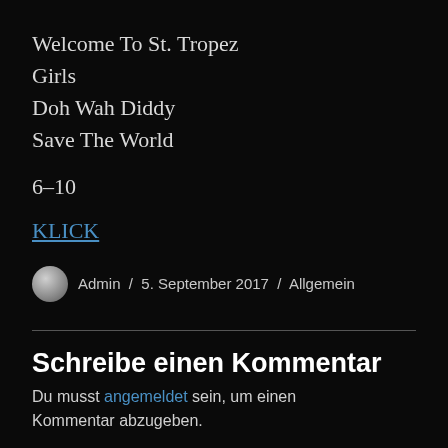Welcome To St. Tropez
Girls
Doh Wah Diddy
Save The World
6–10
KLICK
Admin / 5. September 2017 / Allgemein
Schreibe einen Kommentar
Du musst angemeldet sein, um einen Kommentar abzugeben.